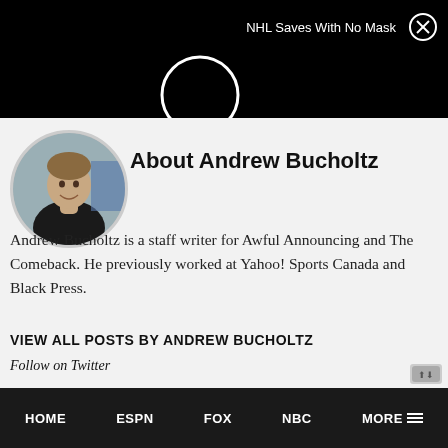NHL Saves With No Mask
[Figure (photo): Profile photo of Andrew Bucholtz, a man in a black shirt against a blue background, in a circular frame]
About Andrew Bucholtz
Andrew Bucholtz is a staff writer for Awful Announcing and The Comeback. He previously worked at Yahoo! Sports Canada and Black Press.
VIEW ALL POSTS BY ANDREW BUCHOLTZ
Follow on Twitter
HOME   ESPN   FOX   NBC   MORE